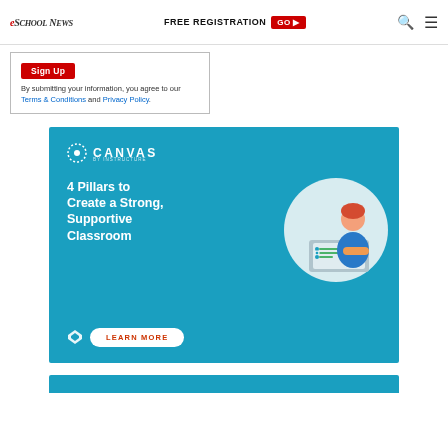eSchoolNews | FREE REGISTRATION GO
Sign Up
By submitting your information, you agree to our Terms & Conditions and Privacy Policy.
[Figure (illustration): Canvas by Instructure advertisement. Blue background with Canvas logo, text '4 Pillars to Create a Strong, Supportive Classroom', illustration of person at laptop, and 'LEARN MORE' button.]
[Figure (illustration): Bottom portion of another blue advertisement, partially visible at bottom of page.]